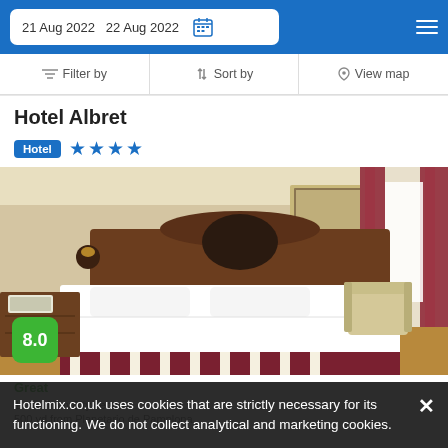21 Aug 2022   22 Aug 2022
Filter by   Sort by   View map
Hotel Albret
Hotel ★★★★
[Figure (photo): Hotel room with a large double bed with white linen, wooden headboard, bedside table with telephone, armchair, and curtained window. Score badge showing 8.0 in green.]
8.0
Hotelmix.co.uk uses cookies that are strictly necessary for its functioning. We do not collect analytical and marketing cookies.
Great
1.2 mi from City Centre
500 yd from Planetario de Pamplona